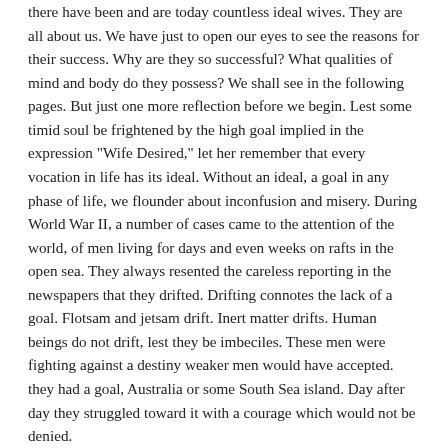there have been and are today countless ideal wives. They are all about us. We have just to open our eyes to see the reasons for their success. Why are they so successful? What qualities of mind and body do they possess? We shall see in the following pages. But just one more reflection before we begin. Lest some timid soul be frightened by the high goal implied in the expression "Wife Desired," let her remember that every vocation in life has its ideal. Without an ideal, a goal in any phase of life, we flounder about inconfusion and misery. During World War II, a number of cases came to the attention of the world, of men living for days and even weeks on rafts in the open sea. They always resented the careless reporting in the newspapers that they drifted. Drifting connotes the lack of a goal. Flotsam and jetsam drift. Inert matter drifts. Human beings do not drift, lest they be imbeciles. These men were fighting against a destiny weaker men would have accepted. they had a goal, Australia or some South Sea island. Day after day they struggled toward it with a courage which would not be denied.